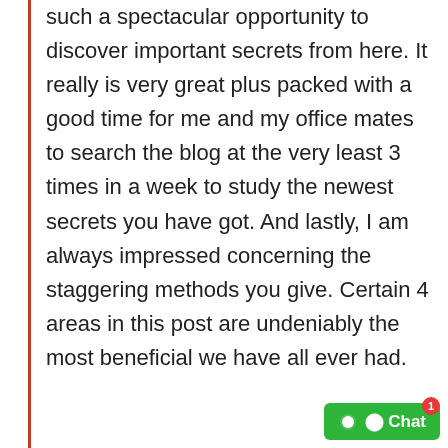such a spectacular opportunity to discover important secrets from here. It really is very great plus packed with a good time for me and my office mates to search the blog at the very least 3 times in a week to study the newest secrets you have got. And lastly, I am always impressed concerning the staggering methods you give. Certain 4 areas in this post are undeniably the most beneficial we have all ever had.
Reply ↓
supreme clothing  July 12, 2021 at 9:31 pm
I must express thanks to this writer for rescuing